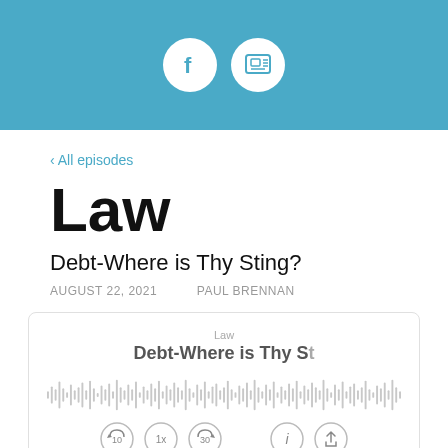[Figure (other): Blue header bar with two circular icons: Facebook logo and a podcast/radio icon]
All episodes
Law
Debt-Where is Thy Sting?
AUGUST 22, 2021    PAUL BRENNAN
[Figure (screenshot): Podcast player widget showing episode title 'Law / Debt-Where is Thy St...' with audio waveform and playback controls (rewind 10, 1x speed, forward 30, info, share)]